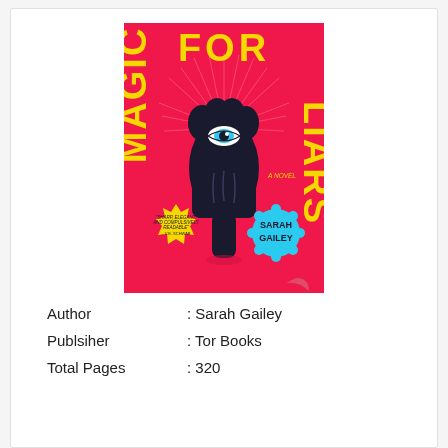[Figure (illustration): Book cover of 'Magic for Liars' by Sarah Gailey. Bright red/pink background with large yellow text reading 'MAGIC FOR LIARS' arranged vertically on left and right sides. Center shows a dark silhouetted fist with an eye (blue iris) on the knuckle and radiating lines. Bottom left has a yellow starburst badge with a quote, bottom right has a blue scalloped badge with the author name 'SARAH GAILEY'. Subtitle 'A NOVEL' appears in small text on the right side.]
Author : Sarah Gailey
Publsiher : Tor Books
Total Pages : 320